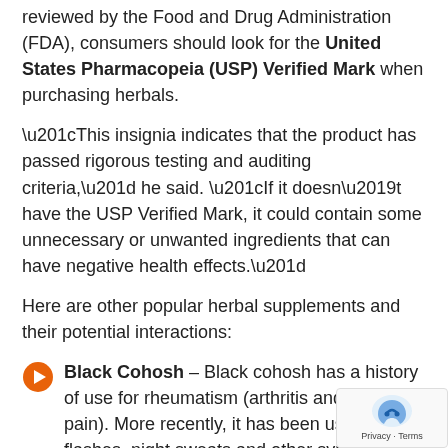reviewed by the Food and Drug Administration (FDA), consumers should look for the United States Pharmacopeia (USP) Verified Mark when purchasing herbals.
“This insignia indicates that the product has passed rigorous testing and auditing criteria,” he said. “If it doesn’t have the USP Verified Mark, it could contain some unnecessary or unwanted ingredients that can have negative health effects.”
Here are other popular herbal supplements and their potential interactions:
Black Cohosh – Black cohosh has a history of use for rheumatism (arthritis and muscle pain). More recently, it has been used for hot flashes, night sweats and other symptoms of menopause. It’s also been used for menstrual